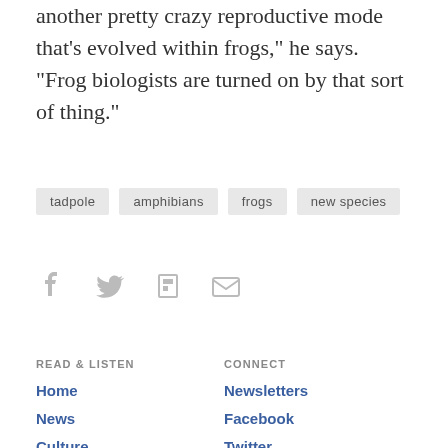another pretty crazy reproductive mode that's evolved within frogs," he says. "Frog biologists are turned on by that sort of thing."
tadpole
amphibians
frogs
new species
[Figure (infographic): Social share icons: Facebook, Twitter, Flipboard, Email]
READ & LISTEN | Home | News | Culture | Music | Podcasts & Shows | CONNECT | Newsletters | Facebook | Twitter | Instagram | Press